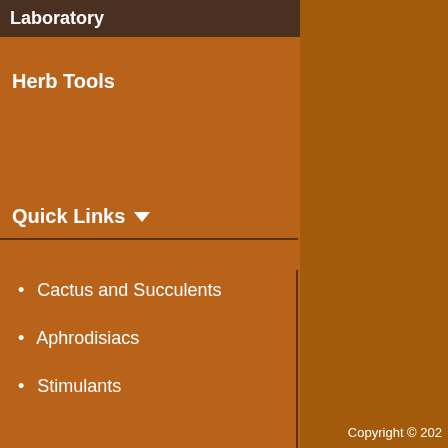Laboratory
Herb Tools
Quick Links ▼
Cactus and Succulents
Aphrodisiacs
Stimulants
Sedatives
Spirit Plants
Food
Medicine
Copyright © 202